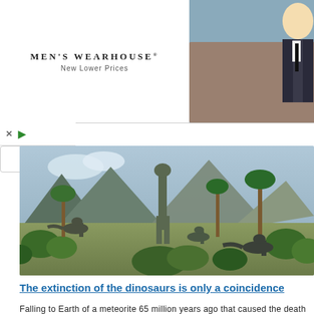[Figure (photo): Men's Wearhouse advertisement banner with couple in formal wear and man in white suit, with BOOK button]
[Figure (photo): Illustration of dinosaurs in a prehistoric landscape with mountains and palm trees]
The extinction of the dinosaurs is only a coincidence
Falling to Earth of a meteorite 65 million years ago that caused the death of the dinosaurs, is nothing short of an accident, the probability of which was extremely small. After all, if the place of falling was any other, mass ext...
[Figure (photo): Partial map image with Cyrillic text visible at bottom of page]